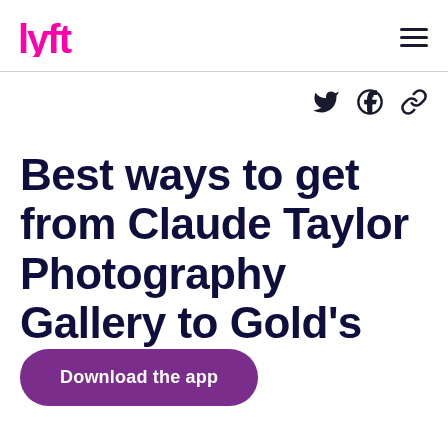Lyft logo and navigation menu
[Figure (logo): Lyft logo in pink/magenta color, top left of header]
[Figure (infographic): Hamburger menu icon (three horizontal lines) in dark navy, top right of header]
[Figure (infographic): Social sharing icons: Twitter bird, Facebook circle, and link/chain icon, in dark navy, right side below header]
Best ways to get from Claude Taylor Photography Gallery to Gold's Gym
Download the app